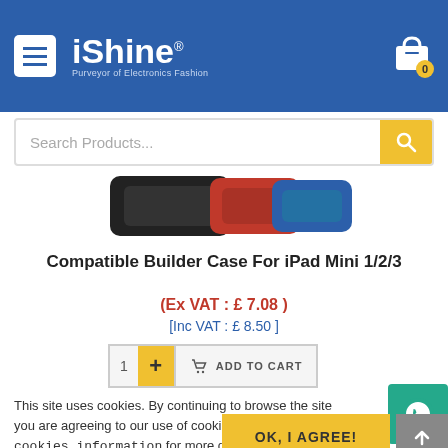iShine - Purveyor of Electronics Fashion
[Figure (screenshot): Search bar with yellow search button]
[Figure (photo): Product photo showing iPad Mini cases in black, red, and blue colors]
Compatible Builder Case For iPad Mini 1/2/3
(Ex VAT:  £ 7.08 )
[Inc VAT:  £ 8.50 ]
[Figure (screenshot): Quantity selector with plus button and ADD TO CART button]
This site uses cookies. By continuing to browse the site you are agreeing to our use of cookies. Review our cookies information for more details.
OK, I AGREE!